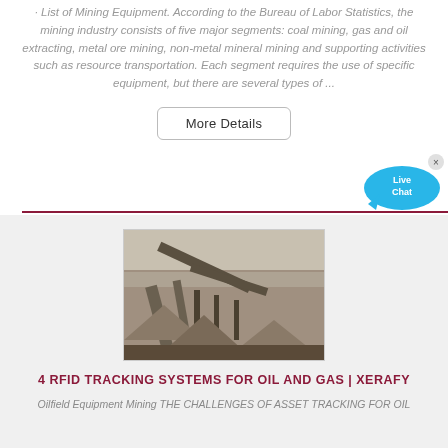· List of Mining Equipment. According to the Bureau of Labor Statistics, the mining industry consists of five major segments: coal mining, gas and oil extracting, metal ore mining, non-metal mineral mining and supporting activities such as resource transportation. Each segment requires the use of specific equipment, but there are several types of ...
[Figure (other): More Details button with rounded border]
[Figure (other): Live Chat bubble icon in cyan/blue with x close button]
[Figure (photo): Aerial photograph of a large open-pit mining operation with conveyor belts and industrial equipment]
4 RFID TRACKING SYSTEMS FOR OIL AND GAS | XERAFY
Oilfield Equipment Mining THE CHALLENGES OF ASSET TRACKING FOR OIL